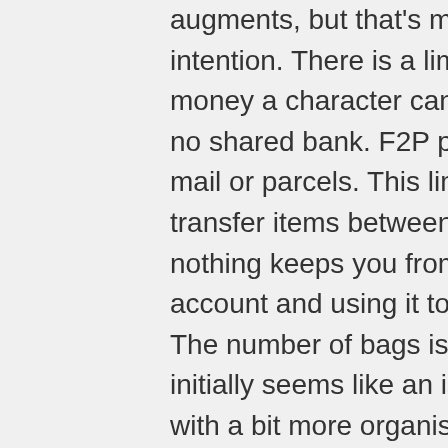augments, but that's more of a bug than intention. There is a limit on the amount of money a character can have and there is no shared bank. F2P players can't send mail or parcels. This limits the ability to transfer items between characters, but nothing keeps you from creating a second account and using it to hold a few bags. The number of bags is limited, which initially seems like an issue, but in the end, with a bit more organisation, you'll get by.
I am a bard of old. I did crowd control in Solusek A and Karnor's Castle and I charm kited in the Plane of Nightmares. So I asked in the bard channel what instruments